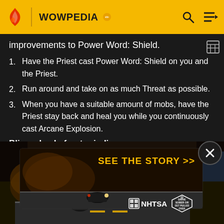WOWPEDIA
improvements to Power Word: Shield.
Have the Priest cast Power Word: Shield on you and the Priest.
Run around and take on as much Threat as possible.
When you have a suitable amount of mobs, have the Priest stay back and heal you while you continuously cast Arcane Explosion.
Blizzard solo frost grinding
[Figure (screenshot): Advertisement banner: SEE THE STORY >> with NHTSA and Drive Sober or Get Pulled Over logos, dark road background]